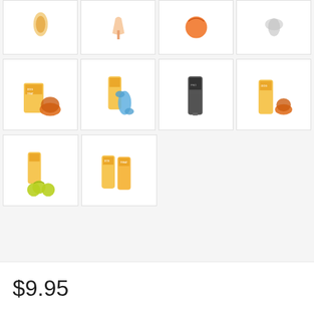[Figure (photo): Row 1: four product thumbnail images - tube product, person holding item, orange ball toy, silver item]
[Figure (photo): Row 2: four product thumbnail images - dog treat kit with orange bowl, tube with blue bone toy, dark tube product, tube with small orange bowl]
[Figure (photo): Row 3: two product thumbnail images - tube with tennis balls, two tubes together]
$9.95